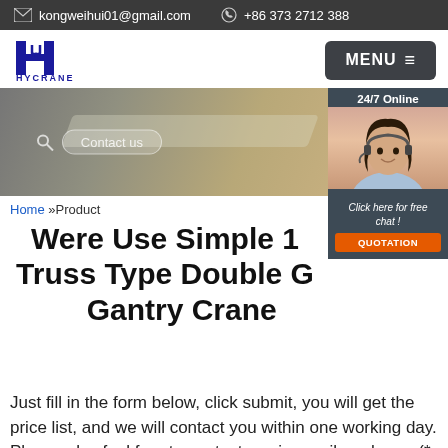kongweihui01@gmail.com  +86 373 2712 388
[Figure (logo): HYCRANE logo with blue stylized H crane symbol and text HYCRANE below]
[Figure (screenshot): Banner image showing hands on laptop keyboard with a search/contact bar, and an online agent panel on the right with '24/7 Online' label and a smiling woman with headset, plus 'Click here for free chat!' and orange QUOTATION button]
Home »Product
Were Use Simple 18 Truss Type Double G Gantry Crane
Just fill in the form below, click submit, you will get the price list, and we will contact you within one working day. Please also feel free to contact us via email or phone. (* is required).